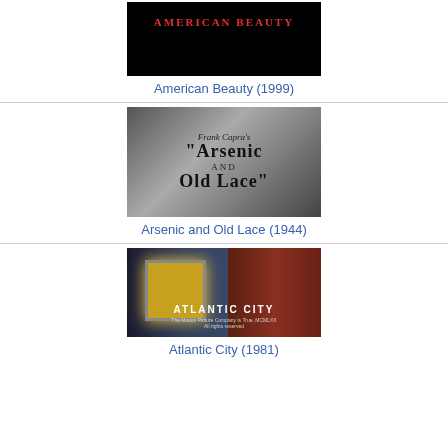[Figure (photo): American Beauty (1999) movie poster — black background with red spaced text 'AMERICAN BEAUTY']
American Beauty (1999)
[Figure (photo): Black and white movie poster for Frank Capra's Arsenic and Old Lace (1944)]
Arsenic and Old Lace (1944)
[Figure (photo): Atlantic City (1981) movie poster showing a glowing window scene with person in red on the right]
Atlantic City (1981)